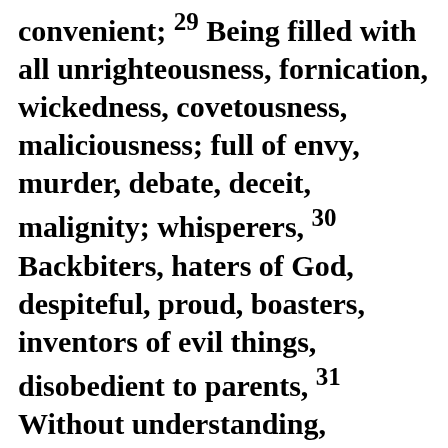convenient; 29 Being filled with all unrighteousness, fornication, wickedness, covetousness, maliciousness; full of envy, murder, debate, deceit, malignity; whisperers, 30 Backbiters, haters of God, despiteful, proud, boasters, inventors of evil things, disobedient to parents, 31 Without understanding, covenantbreakers, without natural affection, implacable, unmerciful: 32 Who knowing the judgment of God, that they which commit such things are worthy of death, not only do the